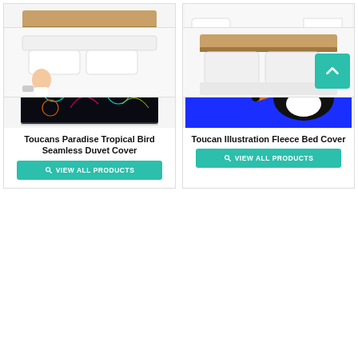[Figure (photo): Partial top-left product card (cropped, top of page)]
[Figure (photo): Partial top-right product card (cropped, top of page)]
[Figure (photo): Toucans Paradise Tropical Bird Seamless Duvet Cover - bed with dark tropical bird pattern duvet]
Toucans Paradise Tropical Bird Seamless Duvet Cover
VIEW ALL PRODUCTS
[Figure (photo): Toucan Illustration Fleece Bed Cover - woman sitting on blue bed with large toucan illustration]
Toucan Illustration Fleece Bed Cover
VIEW ALL PRODUCTS
[Figure (photo): Partial bottom-left product card - person on white bed]
[Figure (photo): Partial bottom-right product card - wooden bed headboard]